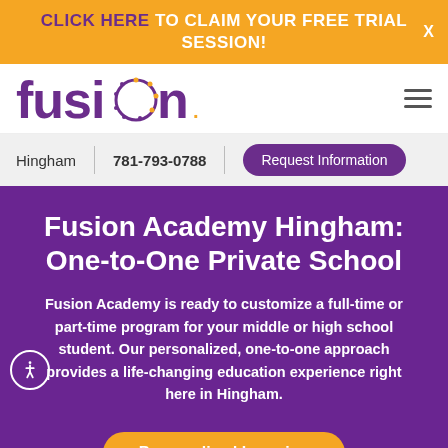CLICK HERE TO CLAIM YOUR FREE TRIAL SESSION!
[Figure (logo): Fusion Academy logo in purple with decorative 'o']
Hingham | 781-793-0788 | Request Information
Fusion Academy Hingham: One-to-One Private School
Fusion Academy is ready to customize a full-time or part-time program for your middle or high school student. Our personalized, one-to-one approach provides a life-changing education experience right here in Hingham.
Personalized Learning